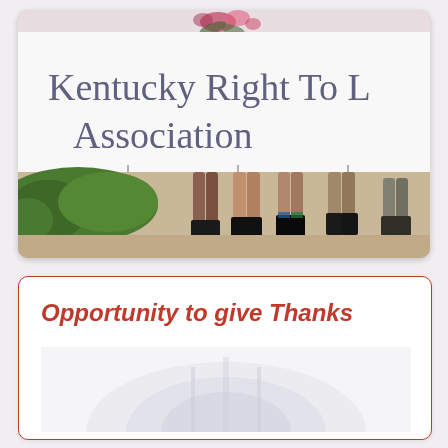[Figure (photo): Outdoor photo showing people holding a banner that reads 'Kentucky Right To Life Association' with floral decoration at top. Visible are the legs and feet of several people standing on a sidewalk with green grass/hedge in background.]
Opportunity to give Thanks
[Figure (photo): A light/white toned image at the bottom of a card section, partially visible.]